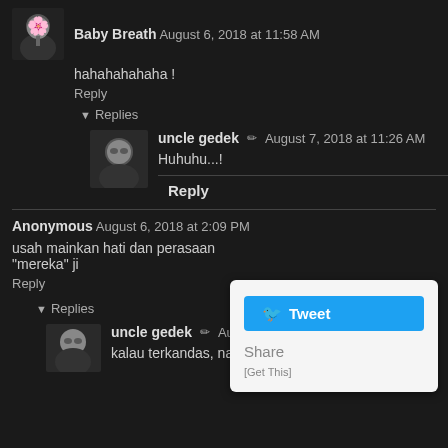[Figure (photo): Avatar thumbnail of Baby Breath user - dark tree image]
Baby Breath  August 6, 2018 at 11:58 AM
hahahahahaha !
Reply
Replies
[Figure (photo): Avatar thumbnail of uncle gedek - man with glasses]
uncle gedek  ✏  August 7, 2018 at 11:26 AM
Huhuhu...!
Reply
Anonymous  August 6, 2018 at 2:09 PM
usah mainkan hati dan perasaan "mereka" ji
Reply
Replies
[Figure (photo): Avatar thumbnail of uncle gedek - man with glasses]
uncle gedek  ✏  August 7, 2018 at 11:27 AM
kalau terkandas, naik tow truck la jawabnya... huhu
[Figure (screenshot): Tweet popup button with Share and Get This options]